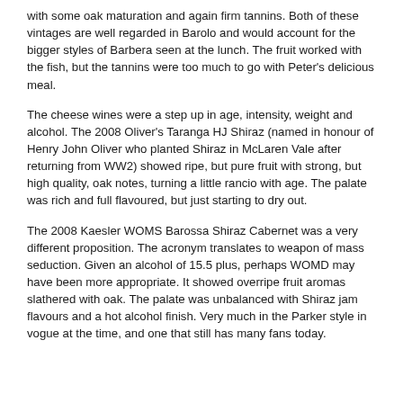with some oak maturation and again firm tannins. Both of these vintages are well regarded in Barolo and would account for the bigger styles of Barbera seen at the lunch. The fruit worked with the fish, but the tannins were too much to go with Peter's delicious meal.
The cheese wines were a step up in age, intensity, weight and alcohol. The 2008 Oliver's Taranga HJ Shiraz (named in honour of Henry John Oliver who planted Shiraz in McLaren Vale after returning from WW2) showed ripe, but pure fruit with strong, but high quality, oak notes, turning a little rancio with age. The palate was rich and full flavoured, but just starting to dry out.
The 2008 Kaesler WOMS Barossa Shiraz Cabernet was a very different proposition. The acronym translates to weapon of mass seduction. Given an alcohol of 15.5 plus, perhaps WOMD may have been more appropriate. It showed overripe fruit aromas slathered with oak. The palate was unbalanced with Shiraz jam flavours and a hot alcohol finish. Very much in the Parker style in vogue at the time, and one that still has many fans today.